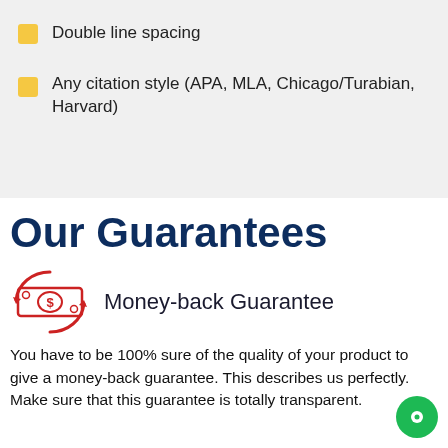Double line spacing
Any citation style (APA, MLA, Chicago/Turabian, Harvard)
Our Guarantees
[Figure (illustration): Money-back guarantee icon: a stylized banknote with dollar sign inside two red circular arrows indicating a refund/return cycle]
Money-back Guarantee
You have to be 100% sure of the quality of your product to give a money-back guarantee. This describes us perfectly. Make sure that this guarantee is totally transparent.